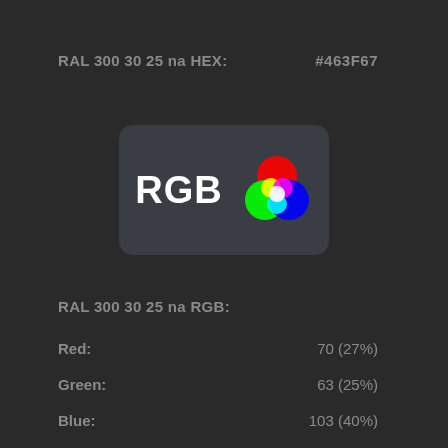RAL 300 30 25 na HEX:
#463F67
[Figure (illustration): RGB color model icon: dark rounded rectangle containing bold white 'RGB' text and overlapping red, green, and blue circles forming a color mixing diagram with cyan, magenta, yellow, and white at intersections]
RAL 300 30 25 na RGB:
Red:
70 (27%)
Green:
63 (25%)
Blue:
103 (40%)